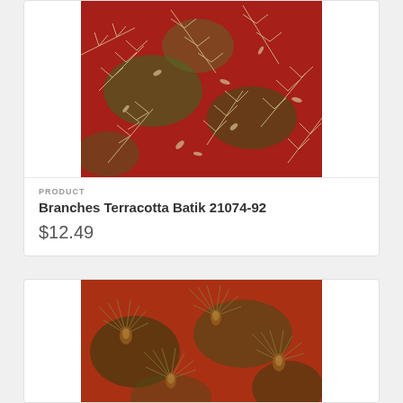[Figure (photo): Close-up photo of red and olive/beige batik fabric with leaf/branch pattern - Branches Terracotta Batik 21074-92]
PRODUCT
Branches Terracotta Batik 21074-92
$12.49
[Figure (photo): Close-up photo of red, orange and green batik fabric with pine branch and pinecone pattern]